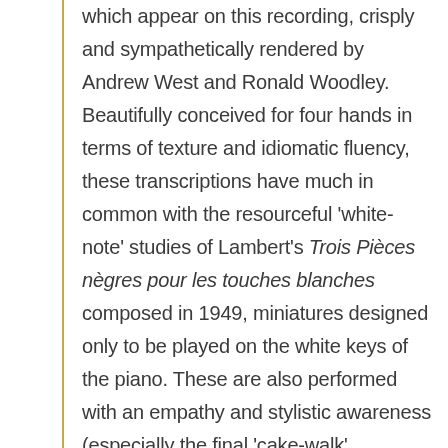which appear on this recording, crisply and sympathetically rendered by Andrew West and Ronald Woodley. Beautifully conceived for four hands in terms of texture and idiomatic fluency, these transcriptions have much in common with the resourceful 'white-note' studies of Lambert's Trois Pièces nègres pour les touches blanches composed in 1949, miniatures designed only to be played on the white keys of the piano. These are also performed with an empathy and stylistic awareness (especially the final 'cake-walk' movement). … The post-Satie world of Lambert's Li Po songs, written between 1927